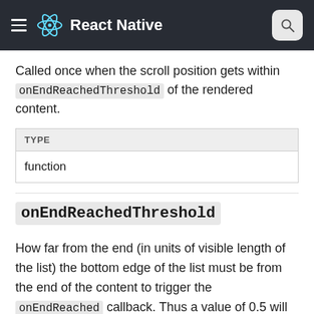React Native
Called once when the scroll position gets within onEndReachedThreshold of the rendered content.
| TYPE |
| --- |
| function |
onEndReachedThreshold
How far from the end (in units of visible length of the list) the bottom edge of the list must be from the end of the content to trigger the onEndReached callback. Thus a value of 0.5 will trigger